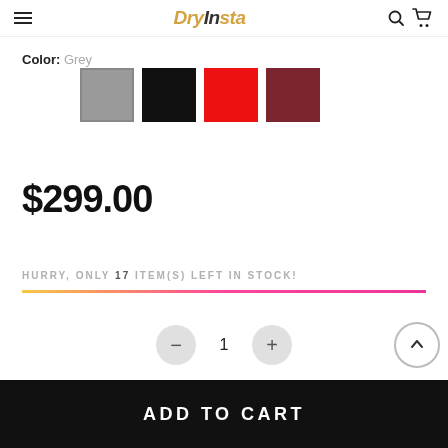DryInsta
Color: Grey
[Figure (other): Four color swatches: grey (selected), black, red, maroon/dark red]
$299.00
HURRY, ONLY 17 ITEM(S) LEFT IN STOCK!
[Figure (other): Gradient progress bar from yellow to pink/red]
- 1 +
ADD TO CART